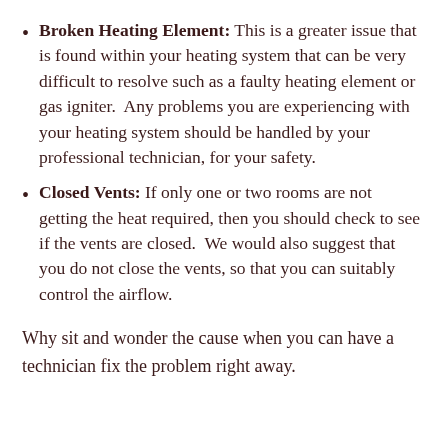Broken Heating Element: This is a greater issue that is found within your heating system that can be very difficult to resolve such as a faulty heating element or gas igniter.  Any problems you are experiencing with your heating system should be handled by your professional technician, for your safety.
Closed Vents: If only one or two rooms are not getting the heat required, then you should check to see if the vents are closed.  We would also suggest that you do not close the vents, so that you can suitably control the airflow.
Why sit and wonder the cause when you can have a technician fix the problem right away.